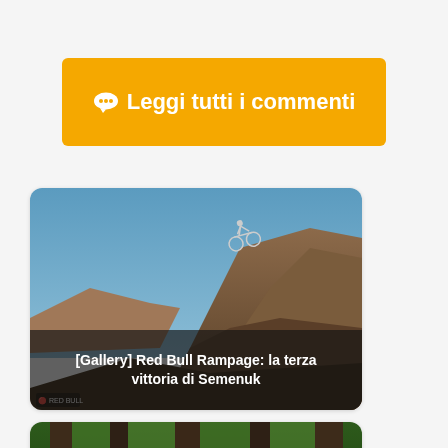💬 Leggi tutti i commenti
[Figure (photo): Mountain bike rider performing a big air jump over rocky cliffs at Red Bull Rampage, with text overlay: [Gallery] Red Bull Rampage: la terza vittoria di Semenuk]
[Figure (photo): Cyclist on a blue mountain bike riding through a forest with tall trees in the background, partially visible at bottom of page]